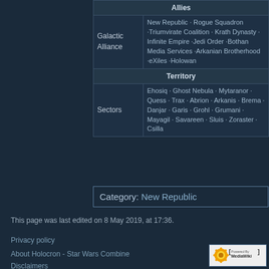|  | Allies |
| --- | --- |
| Galactic Alliance | New Republic · Rogue Squadron ·Triumvirate Coalition · Krath Dynasty · Infinite Empire ·Jedi Order ·Bothan Media Services ·Arkanian Brotherhood ·eXiles ·Holowan |
|  | Territory |
| Sectors | Ehosiq · Ghost Nebula · Mytaranor · Quess · Trax · Abrion · Arkanis · Brema · Danjar · Garis · Grohl · Grumani · Mayagil · Savareen · Sluis · Zoraster · Csilla |
Category: New Republic
This page was last edited on 8 May 2019, at 17:36.
Privacy policy
About Holocron - Star Wars Combine
Disclaimers